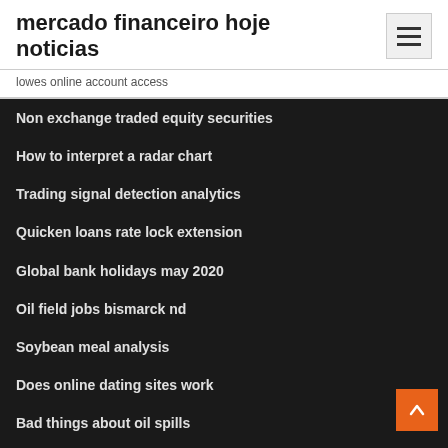mercado financeiro hoje noticias
lowes online account access
Non exchange traded equity securities
How to interpret a radar chart
Trading signal detection analytics
Quicken loans rate lock extension
Global bank holidays may 2020
Oil field jobs bismarck nd
Soybean meal analysis
Does online dating sites work
Bad things about oil spills
Increase in capital stock requirements